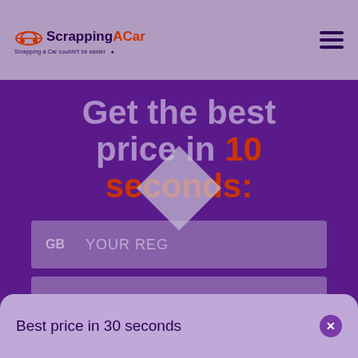ScrappingACar — Scrapping a Car couldn't be easier
Get the best price in 10 seconds:
GB  YOUR REG
POSTCODE
Best price in 30 seconds